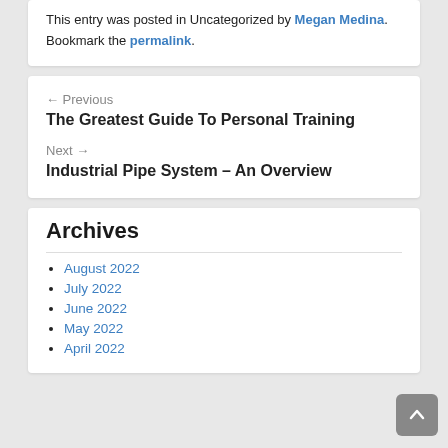This entry was posted in Uncategorized by Megan Medina. Bookmark the permalink.
← Previous
The Greatest Guide To Personal Training
Next →
Industrial Pipe System – An Overview
Archives
August 2022
July 2022
June 2022
May 2022
April 2022